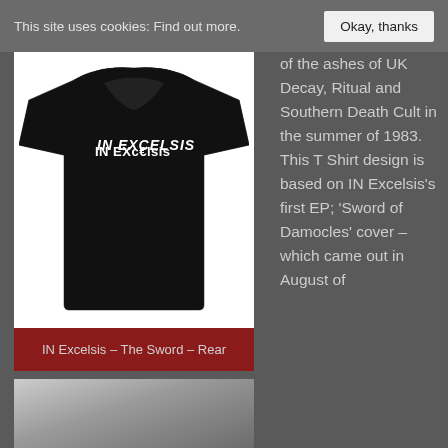This site uses cookies: Find out more.   [Okay, thanks]
[Figure (photo): Black t-shirt with 'IN Excelsis' logo text in white on the chest, displayed as a product photo on white background]
IN Excelsis – The Sword – Rear
[Figure (photo): Partial black and white photo visible at bottom left]
of the ashes of UK Decay, Ritual and Southern Death Cult in the summer of 1983. This T Shirt design is based on IN Excelsis's first EP; 'Sword of Damocles' cover – which came out in August of